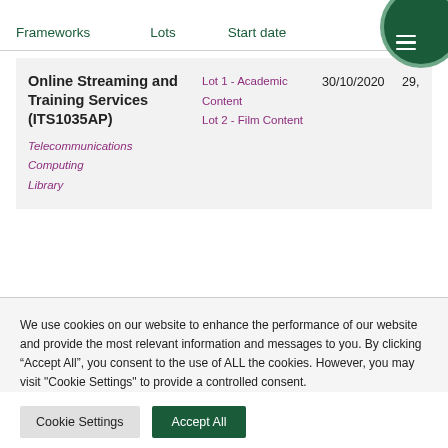Frameworks   Lots   Start date
| Frameworks | Lots | Start date |  |
| --- | --- | --- | --- |
| Online Streaming and Training Services (ITS1035AP)
Telecommunications Computing Library | Lot 1 - Academic Content
Lot 2 - Film Content | 30/10/2020 | 29, |
We use cookies on our website to enhance the performance of our website and provide the most relevant information and messages to you. By clicking “Accept All”, you consent to the use of ALL the cookies. However, you may visit "Cookie Settings" to provide a controlled consent.
Cookie Settings
Accept All